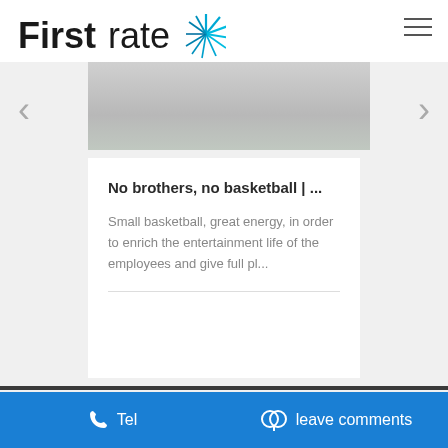[Figure (logo): Firstrate company logo with blue burst/starburst graphic and bold text]
[Figure (photo): Partial photo of a basketball court or sports floor, light gray/white surface visible]
No brothers, no basketball | ...
Small basketball, great energy, in order to enrich the entertainment life of the employees and give full pl...
Tel   leave comments